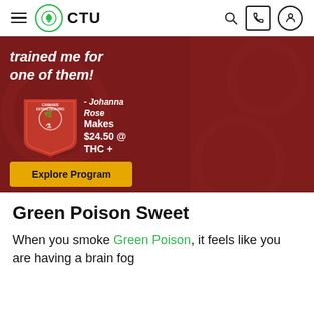CTU (Cannabis Training University) navigation bar with hamburger menu, logo, search, phone, and user icons
[Figure (photo): CTU advertisement banner with dark red background showing a young woman with glasses and red plaid shirt holding a pipe. Text reads: 'trained me for one of them! - Johanna Rose Makes $24.50 @ THC +' with a Cannabis Extraction Pro badge and an 'Explore Program' yellow button.]
Green Poison Sweet
When you smoke Green Poison, it feels like you are having a brain fog and before long you will be chilli...